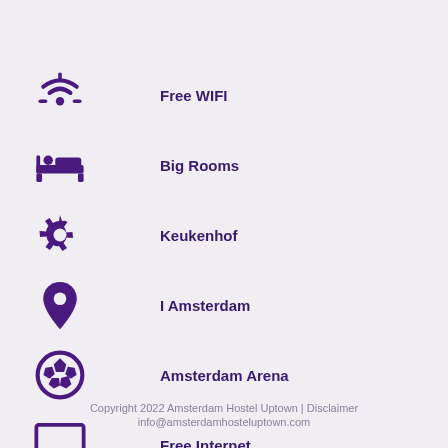Free WIFI
Big Rooms
Keukenhof
I Amsterdam
Amsterdam Arena
Free Internet
Free Citymap
Bike Rental
Copyright 2022 Amsterdam Hostel Uptown | Disclaimer
info@amsterdamhosteluptown.com